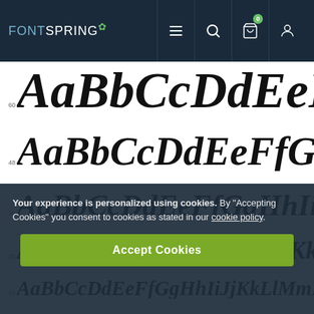FONTSPRING navigation bar
[Figure (other): Font preview showing AaBbCcDdEeFfGgHh at sizes 60, 48, 36, 30, 24 in bold italic serif font]
Your experience is personalized using cookies. By "Accepting Cookies" you consent to cookies as stated in our cookie policy.
Accept Cookies